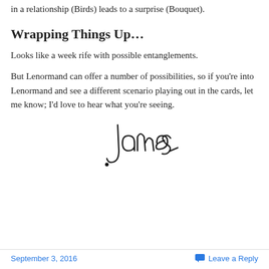in a relationship (Birds) leads to a surprise (Bouquet).
Wrapping Things Up…
Looks like a week rife with possible entanglements.
But Lenormand can offer a number of possibilities, so if you're into Lenormand and see a different scenario playing out in the cards, let me know; I'd love to hear what you're seeing.
[Figure (illustration): Handwritten signature reading 'James']
September 3, 2016    Leave a Reply